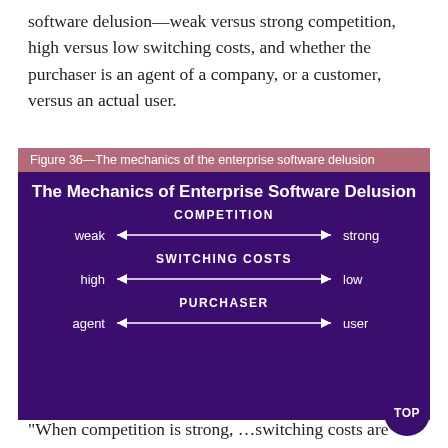software delusion—weak versus strong competition, high versus low switching costs, and whether the purchaser is an agent of a company, or a customer, versus an actual user.
Figure 36—The mechanics of the enterprise software delusion
[Figure (infographic): Three horizontal double-headed arrows showing spectrums: COMPETITION (weak to strong), SWITCHING COSTS (high to low), PURCHASER (agent to user)]
“When competition is strong, …switching costs are